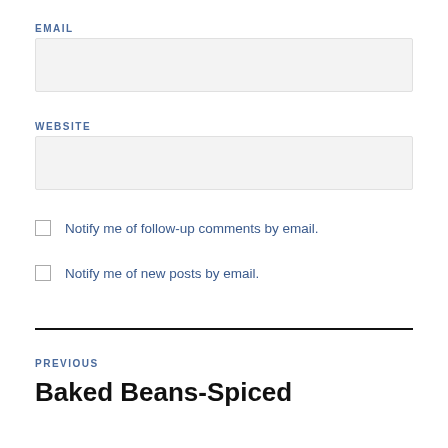EMAIL
WEBSITE
Notify me of follow-up comments by email.
Notify me of new posts by email.
PREVIOUS
Baked Beans-Spiced